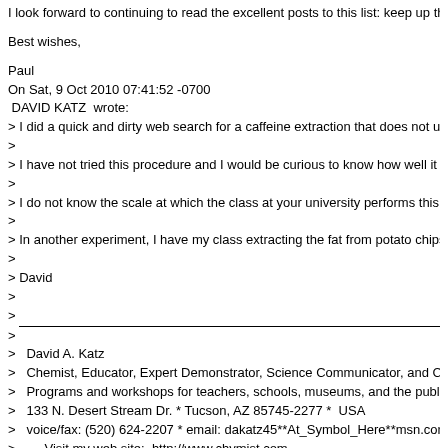I look forward to continuing to read the excellent posts to this list: keep up the gr...
Best wishes,
Paul
On Sat, 9 Oct 2010 07:41:52 -0700
 DAVID KATZ  wrote:
> I did a quick and dirty web search for a caffeine extraction that does not use di...
>
> I have not tried this procedure and I would be curious to know how well it work...
>
> I do not know the scale at which the class at your university performs this expe...
>
> In another experiment, I have my class extracting the fat from potato chips and...
>
> David
>
> ___
>
>    David A. Katz
>    Chemist, Educator, Expert Demonstrator, Science Communicator, and Consu...
>    Programs and workshops for teachers, schools, museums, and the public
>    133 N. Desert Stream Dr. * Tucson, AZ 85745-2277 *  USA
>    voice/fax: (520) 624-2207 * email: dakatz45**At_Symbol_Here**msn.com
>         Visit my web site:  http://www.chymist.com
>
> ___
Paul Harrison
Associate Professor of Chemistry
Department of Chemistry and Chemical Biology
McMaster University
1280 Main St. W., Hamilton, ON, L8S 4M1, Canada
Phone: (905)525-9140 x27338; FAX: (905)522-2509